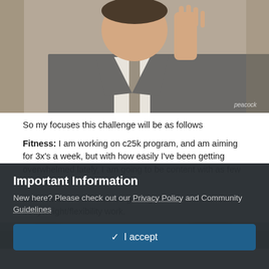[Figure (photo): A man in a grey suit and tie holding his hand up, as if refusing or stopping something. A Peacock watermark is visible in the lower right corner of the image.]
So my focuses this challenge will be as follows
Fitness: I am working on c25k program, and am aiming for 3x's a week, but with how easily I've been getting overwhelmed lately, I am going to be content with as few as 1 run per week.
2nd Fitness: I will also be getting back to work on some bodyweight/flexibility work.
[Figure (photo): Partial view of an outdoor scene, visible at the bottom of the page content area, partially obscured by the modal overlay.]
Important Information
New here? Please check out our Privacy Policy and Community Guidelines
✓ I accept